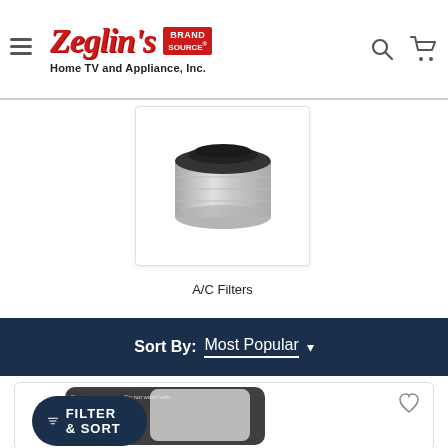[Figure (logo): Zeglin's Brand Source Home TV and Appliance, Inc. logo with hamburger menu, search and cart icons]
[Figure (photo): A/C filter cylindrical product image in a card]
A/C Filters
[Figure (other): Accessibility icon button (dark blue circle with person symbol)]
Sort By:  Most Popular ▾
[Figure (photo): Product card showing a dark air filter with label]
FILTER & SORT